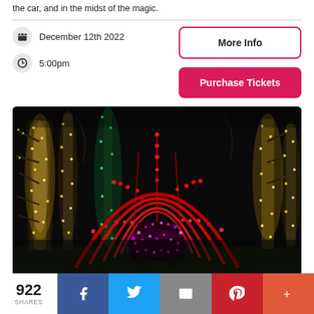the car, and in the midst of the magic.
December 12th 2022
5:00pm
More Info
Purchase Tickets
[Figure (photo): Night-time drive-through Christmas lights display. A car covered in colorful lights drives through a tunnel of red arched lights. Trees wrapped in yellow/gold and green lights line the sides. Dark sky background.]
922 SHARES
f
Twitter bird icon
Email icon
Pinterest icon
+